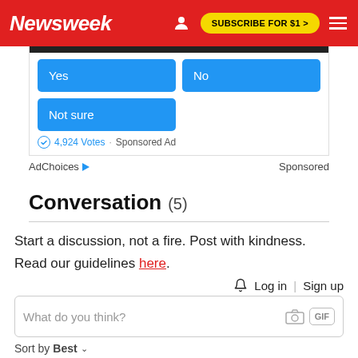Newsweek | SUBSCRIBE FOR $1 >
[Figure (other): Poll widget with Yes, No, Not sure buttons and 4,924 Votes · Sponsored Ad label]
AdChoices ▷   Sponsored
Conversation (5)
Start a discussion, not a fire. Post with kindness. Read our guidelines here.
🔔  Log in | Sign up
What do you think?  📷  GIF
Sort by Best ∨